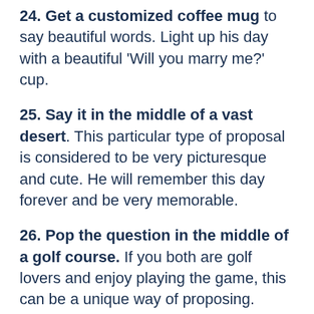24. Get a customized coffee mug to say beautiful words. Light up his day with a beautiful 'Will you marry me?' cup.
25. Say it in the middle of a vast desert. This particular type of proposal is considered to be very picturesque and cute. He will remember this day forever and be very memorable.
26. Pop the question in the middle of a golf course. If you both are golf lovers and enjoy playing the game, this can be a unique way of proposing. Write down your proposal on the golf ball and